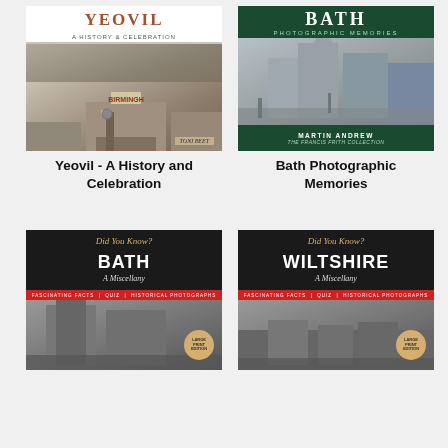[Figure (photo): Book cover: Yeovil - A History and Celebration by Toni Beet. White top band with title in brown serif font, historical street photo below.]
Yeovil - A History and Celebration
[Figure (photo): Book cover: Bath Photographic Memories by Martin Andrew, The Francis Frith Collection. Dark green bands top and bottom, historical photo of Bath street in centre.]
Bath Photographic Memories
[Figure (photo): Book cover: Did You Know? Bath - A Miscellany. Large Print Edition. Dark background with gold script, red bar, historical B&W street photo.]
[Figure (photo): Book cover: Did You Know? Wiltshire - A Miscellany. Large Print Edition. Dark background with gold script, red bar, historical B&W street photo.]